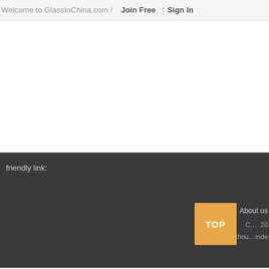Welcome to GlassInChina.com !   Join Free  |  Sign In
friendly link:
Services  |  About us
© 20
Hangzhou...inde
TOP